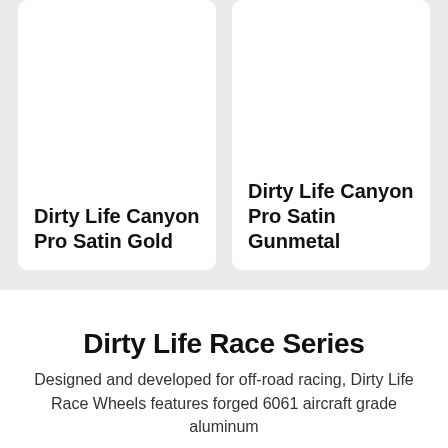Dirty Life Canyon Pro Satin Gold
Dirty Life Canyon Pro Satin Gunmetal
Dirty Life Race Series
Designed and developed for off-road racing, Dirty Life Race Wheels features forged 6061 aircraft grade aluminum